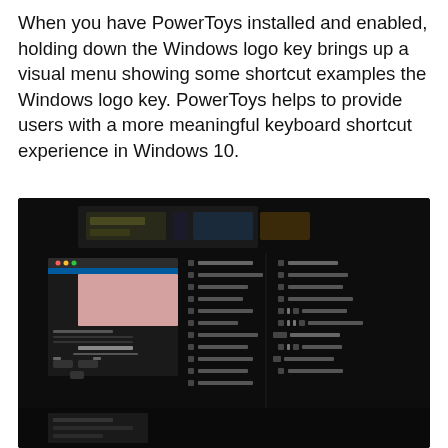When you have PowerToys installed and enabled, holding down the Windows logo key brings up a visual menu showing some shortcut examples the Windows logo key. PowerToys helps to provide users with a more meaningful keyboard shortcut experience in Windows 10.
[Figure (screenshot): A dark-themed screenshot showing the PowerToys keyboard shortcut guide overlay on a Windows 10 desktop, with a panel on the left showing 'Window controls' and a list of Windows key shortcuts on the right side.]